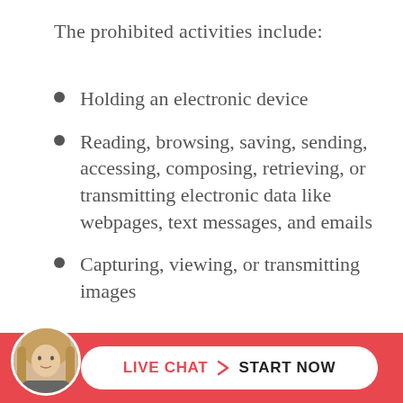The prohibited activities include:
Holding an electronic device
Reading, browsing, saving, sending, accessing, composing, retrieving, or transmitting electronic data like webpages, text messages, and emails
Capturing, viewing, or transmitting images
[Figure (infographic): Bottom banner with live chat CTA: red background, circular avatar photo of a woman with blonde hair, white pill-shaped button with 'LIVE CHAT > START NOW' text in red and black]